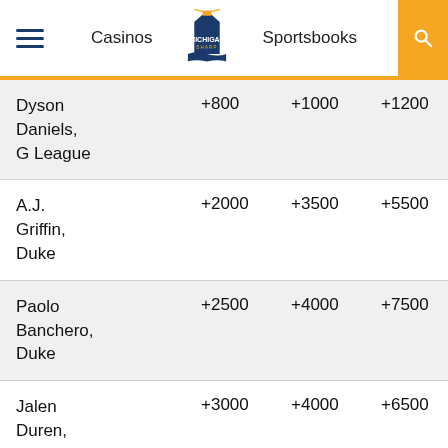Casinos | Michigan Sharp | Sportsbooks
| Player | Col1 | Col2 | Col3 | Col4 |
| --- | --- | --- | --- | --- |
| Dyson Daniels, G League | +800 | +1000 | +1200 | +1800 |
| A.J. Griffin, Duke | +2000 | +3500 | +5500 | +5500 |
| Paolo Banchero, Duke | +2500 | +4000 | +7500 | +9500 |
| Jalen Duren, Memphis | +3000 | +4000 | +6500 | +8000 |